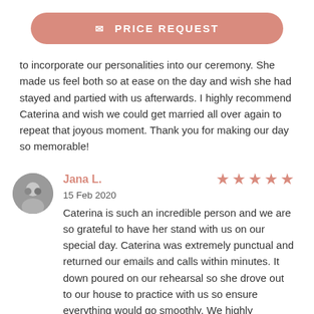[Figure (other): Price Request button with envelope icon, salmon/dusty rose colored rounded rectangle]
to incorporate our personalities into our ceremony. She made us feel both so at ease on the day and wish she had stayed and partied with us afterwards. I highly recommend Caterina and wish we could get married all over again to repeat that joyous moment. Thank you for making our day so memorable!
Jana L.
15 Feb 2020
Caterina is such an incredible person and we are so grateful to have her stand with us on our special day. Caterina was extremely punctual and returned our emails and calls within minutes. It down poured on our rehearsal so she drove out to our house to practice with us so ensure everything would go smoothly. We highly recommend Caterina and think she was worth every cent! If you are looking for a